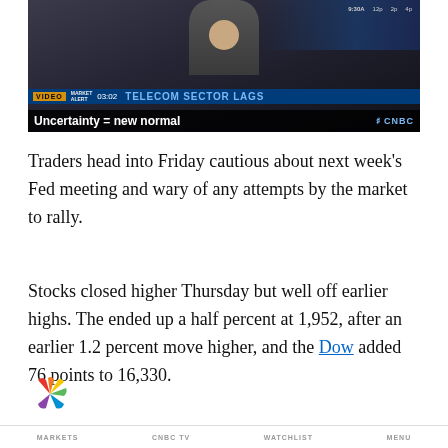[Figure (screenshot): CNBC video thumbnail showing a news anchor with lower-third graphic. VIDEO badge in yellow/gold, 03:02 timestamp, blue band with 'TELECOM SECTOR LAGS' headline. Market Alert overlay. Subtitle reads 'Uncertainty = new normal'. CNBC logo bottom right. Ticker info 9:30A visible top right.]
Traders head into Friday cautious about next week's Fed meeting and wary of any attempts by the market to rally.
Stocks closed higher Thursday but well off earlier highs. The ended up a half percent at 1,952, after an earlier 1.2 percent move higher, and the Dow added 76 points to 16,330.
[Figure (logo): CNBC NBC peacock logo in multicolor (red, orange, yellow, green, blue, purple petals)]
MARKETS   CNBC TV   WATCHLIST   MENU